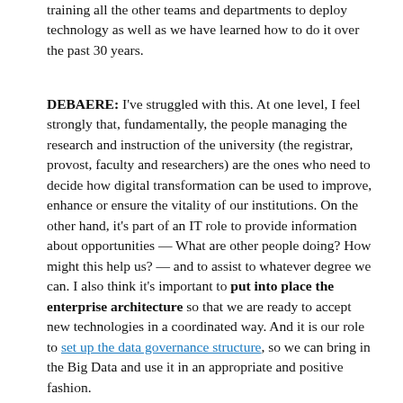training all the other teams and departments to deploy technology as well as we have learned how to do it over the past 30 years.
DEBAERE: I've struggled with this. At one level, I feel strongly that, fundamentally, the people managing the research and instruction of the university (the registrar, provost, faculty and researchers) are the ones who need to decide how digital transformation can be used to improve, enhance or ensure the vitality of our institutions. On the other hand, it's part of an IT role to provide information about opportunities — What are other people doing? How might this help us? — and to assist to whatever degree we can. I also think it's important to put into place the enterprise architecture so that we are ready to accept new technologies in a coordinated way. And it is our role to set up the data governance structure, so we can bring in the Big Data and use it in an appropriate and positive fashion.